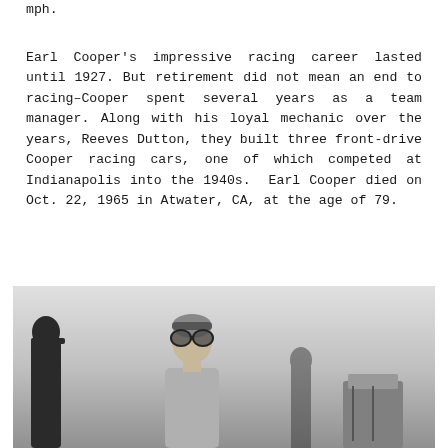mph.
Earl Cooper's impressive racing career lasted until 1927. But retirement did not mean an end to racing–Cooper spent several years as a team manager. Along with his loyal mechanic over the years, Reeves Dutton, they built three front-drive Cooper racing cars, one of which competed at Indianapolis into the 1940s.  Earl Cooper died on Oct. 22, 1965 in Atwater, CA, at the age of 79.
[Figure (photo): Black and white photograph showing a racing driver wearing goggles on his forehead, with a silhouette of another person on the left and equipment visible on the right.]